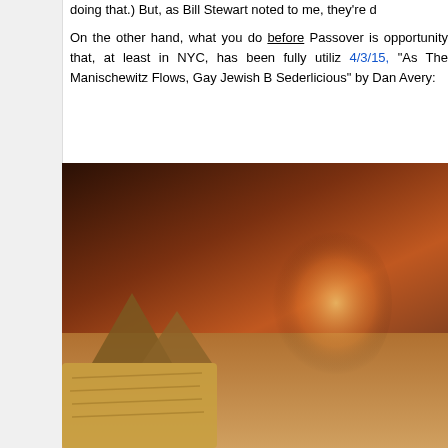doing that.) But, as Bill Stewart noted to me, they're d
On the other hand, what you do before Passover is opportunity that, at least in NYC, has been fully utiliz 4/3/15, "As The Manischewitz Flows, Gay Jewish B Sederlicious" by Dan Avery:
[Figure (photo): Promotional image for a HEBRO party event at Stage 48. Shows a young man in Egyptian-themed costume with decorative headdress, jeweled collar, hands pressed together in prayer pose. Background shows Egyptian pyramids under a dramatic reddish-brown sky. Matzah visible at bottom left. Text overlay reads 'STAGE 48 PRESENTS A HEBRO PR' and 'myhebro.com'.]